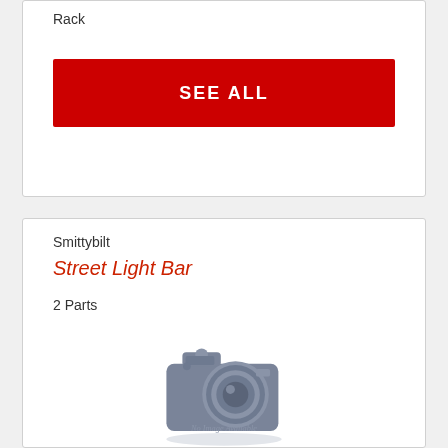Rack
SEE ALL
Smittybilt
Street Light Bar
2 Parts
[Figure (photo): No Image Available placeholder with camera icon graphic and text 'No Image Available']